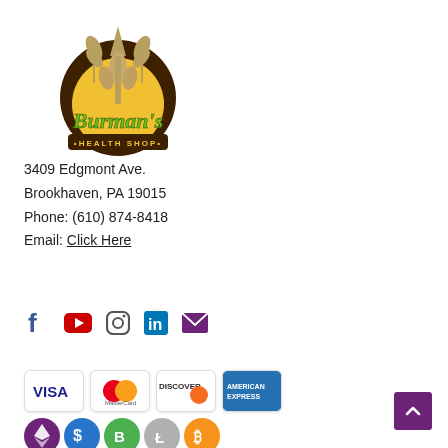[Figure (logo): Burman's Health Shop logo — circular brown/gold badge with wheat/grain icon and green script text]
3409 Edgmont Ave.
Brookhaven, PA 19015
Phone: (610) 874-8418
Email: Click Here
[Figure (infographic): Social media icons: Facebook, YouTube, Instagram, LinkedIn, Email/Envelope]
[Figure (infographic): Payment method logos: Visa, MasterCard, Discover, American Express]
[Figure (infographic): Cryptocurrency icons: Ethereum, USD Coin, Bitcoin, Litecoin, Bitcoin Cash]